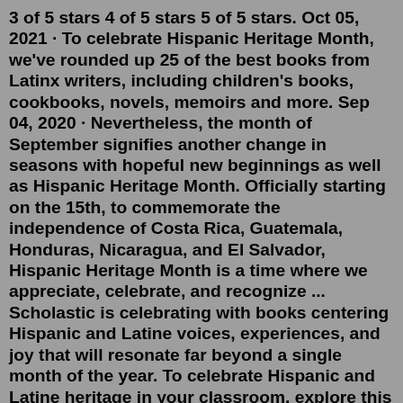3 of 5 stars 4 of 5 stars 5 of 5 stars. Oct 05, 2021 · To celebrate Hispanic Heritage Month, we've rounded up 25 of the best books from Latinx writers, including children's books, cookbooks, novels, memoirs and more. Sep 04, 2020 · Nevertheless, the month of September signifies another change in seasons with hopeful new beginnings as well as Hispanic Heritage Month. Officially starting on the 15th, to commemorate the independence of Costa Rica, Guatemala, Honduras, Nicaragua, and El Salvador, Hispanic Heritage Month is a time where we appreciate, celebrate, and recognize ... Scholastic is celebrating with books centering Hispanic and Latine voices, experiences, and joy that will resonate far beyond a single month of the year. To celebrate Hispanic and Latine heritage in your classroom, explore this list of popular fiction and nonfiction titles handpicked by our editors, including picture books, novels, and biographies.Hispanic Heritage Month Book & Activities (El mes de herencia hispana libro y